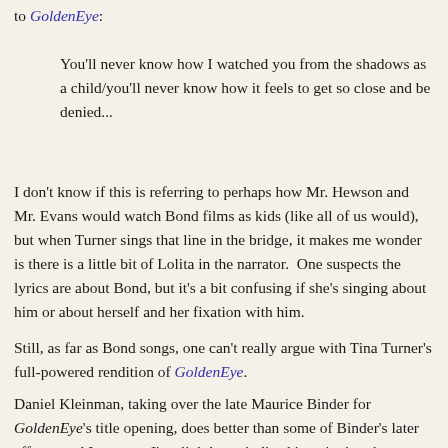to GoldenEye:
You'll never know how I watched you from the shadows as a child/you'll never know how it feels to get so close and be denied...
I don't know if this is referring to perhaps how Mr. Hewson and Mr. Evans would watch Bond films as kids (like all of us would), but when Turner sings that line in the bridge, it makes me wonder is there is a little bit of Lolita in the narrator.  One suspects the lyrics are about Bond, but it's a bit confusing if she's singing about him or about herself and her fixation with him.
Still, as far as Bond songs, one can't really argue with Tina Turner's full-powered rendition of GoldenEye.
Daniel Kleinman, taking over the late Maurice Binder for GoldenEye's title opening, does better than some of Binder's later efforts, and I suppose I'm slightly prejudiced in enjoying the